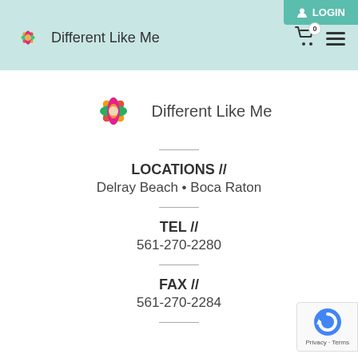LOGIN  Different Like Me  [cart: 0]  [menu]
[Figure (logo): Colorful butterfly/star logo with red, orange, yellow, green, blue, and pink colors; labeled 'Different Like Me']
LOCATIONS // Delray Beach • Boca Raton
TEL // 561-270-2280
FAX // 561-270-2284